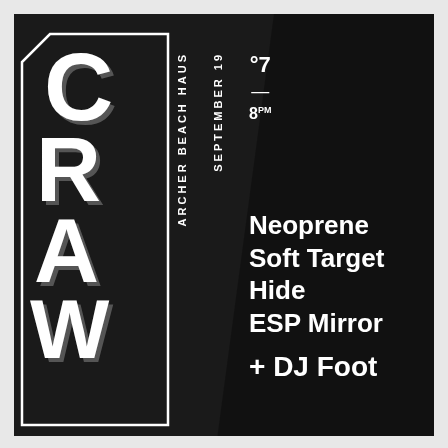CRAW
ARCHER BEACH HAUS
SEPTEMBER 19
°7 — 8PM
Neoprene
Soft Target
Hide
ESP Mirror
+ DJ Foot